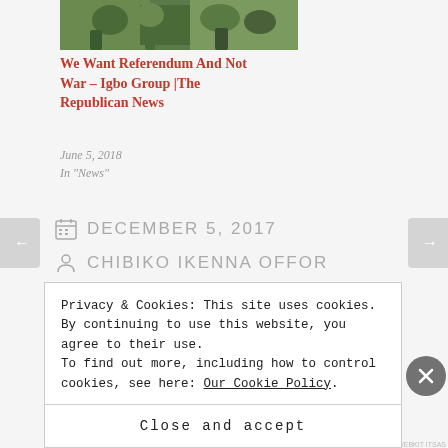[Figure (photo): Outdoor group photo of people wearing green and yellow clothing]
We Want Referendum And Not War – Igbo Group |The Republican News
June 5, 2018
In "News"
DECEMBER 5, 2017
CHIBIKO IKENNA OFFOR
Privacy & Cookies: This site uses cookies. By continuing to use this website, you agree to their use.
To find out more, including how to control cookies, see here: Our Cookie Policy
Close and accept